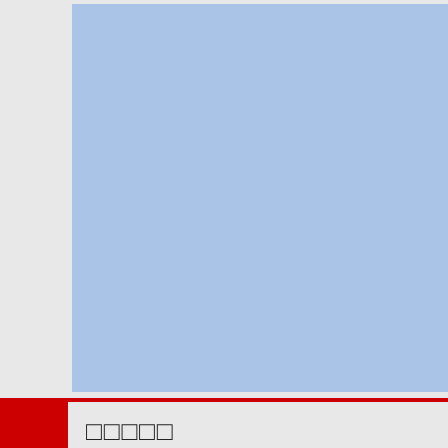[Figure (map): Map showing Philippine Sea (フィリピン海) region in light blue, partial view cropped at right edge]
□□□□□
| SID | SEASON | NUMBER | BASIN | SUBB... |
| --- | --- | --- | --- | --- |
| 1940249N24130 | 1940 | 61 | WP | MM... |
| 1940249N24130 | 1940 | 61 | WP | MM... |
| 1940249N24130 | 1940 | 61 | WP | MM... |
| 1940249N24130 | 1940 | 61 | WP | MM... |
| 1940249N24130 | 1940 | 61 | WP | MM... |